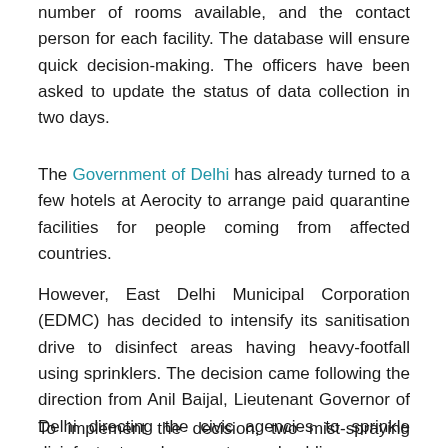number of rooms available, and the contact person for each facility. The database will ensure quick decision-making. The officers have been asked to update the status of data collection in two days.
The Government of Delhi has already turned to a few hotels at Aerocity to arrange paid quarantine facilities for people coming from affected countries.
However, East Delhi Municipal Corporation (EDMC) has decided to intensify its sanitisation drive to disinfect areas having heavy-footfall using sprinklers. The decision came following the direction from Anil Baijal, Lieutenant Governor of Delhi directing the civic agencies to sprinkle disinfectants on busy routes and public areas.
To implement the decision, two mist-spraying machines were used on lower surfaces on selected routes. "A mixture